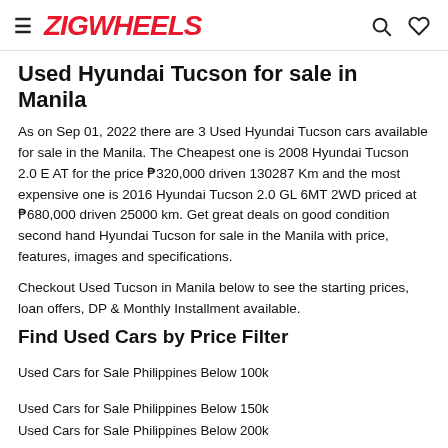ZIGWHEELS
Used Hyundai Tucson for sale in Manila
As on Sep 01, 2022 there are 3 Used Hyundai Tucson cars available for sale in the Manila. The Cheapest one is 2008 Hyundai Tucson 2.0 E AT for the price ₱320,000 driven 130287 Km and the most expensive one is 2016 Hyundai Tucson 2.0 GL 6MT 2WD priced at ₱680,000 driven 25000 km. Get great deals on good condition second hand Hyundai Tucson for sale in the Manila with price, features, images and specifications.
Checkout Used Tucson in Manila below to see the starting prices, loan offers, DP & Monthly Installment available.
Find Used Cars by Price Filter
Used Cars for Sale Philippines Below 100k
Used Cars for Sale Philippines Below 150k
Used Cars for Sale Philippines Below 200k
Used Cars for Sale Philippines Below 300k
Used Cars for Sale Philippines Below 500k
Popular Used Car Models